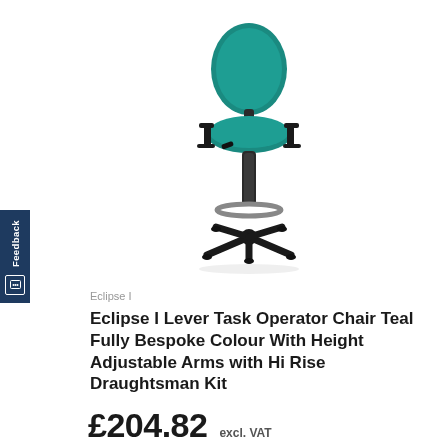[Figure (photo): A teal/green Eclipse I lever task operator chair with height adjustable arms and hi rise draughtsman kit, featuring a black five-star base, black gas lift column, a circular foot ring, and black armrests.]
Eclipse I
Eclipse I Lever Task Operator Chair Teal Fully Bespoke Colour With Height Adjustable Arms with Hi Rise Draughtsman Kit
£204.82 excl. VAT